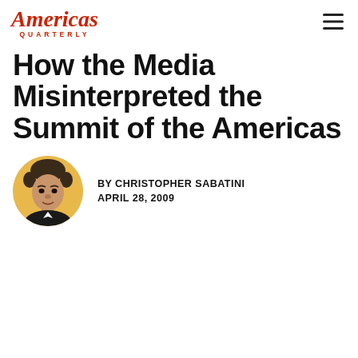Americas Quarterly
How the Media Misinterpreted the Summit of the Americas
[Figure (illustration): Illustrated portrait of Christopher Sabatini, a man with dark hair wearing a suit, depicted in a circular frame with a golden/yellow background]
BY CHRISTOPHER SABATINI
APRIL 28, 2009